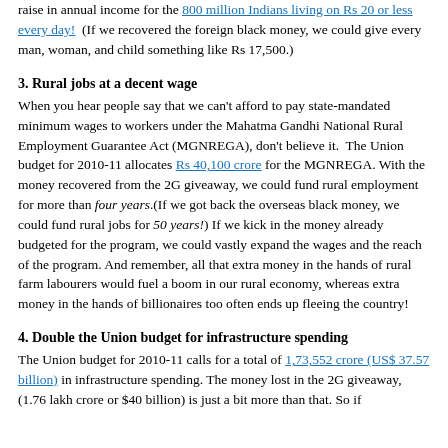raise in annual income for the 800 million Indians living on Rs 20 or less every day!  (If we recovered the foreign black money, we could give every man, woman, and child something like Rs 17,500.)
3. Rural jobs at a decent wage
When you hear people say that we can't afford to pay state-mandated minimum wages to workers under the Mahatma Gandhi National Rural Employment Guarantee Act (MGNREGA), don't believe it.  The Union budget for 2010-11 allocates Rs 40,100 crore for the MGNREGA. With the money recovered from the 2G giveaway, we could fund rural employment for more than four years.(If we got back the overseas black money, we could fund rural jobs for 50 years!) If we kick in the money already budgeted for the program, we could vastly expand the wages and the reach of the program. And remember, all that extra money in the hands of rural farm labourers would fuel a boom in our rural economy, whereas extra money in the hands of billionaires too often ends up fleeing the country!
4. Double the Union budget for infrastructure spending
The Union budget for 2010-11 calls for a total of 1,73,552 crore (US$ 37.57 billion) in infrastructure spending. The money lost in the 2G giveaway, (1.76 lakh crore or $40 billion) is just a bit more than that. So if...